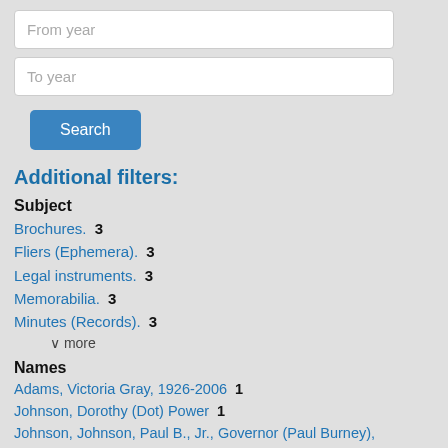[Figure (screenshot): Search form with 'From year' and 'To year' input fields and a blue Search button]
Additional filters:
Subject
Brochures.  3
Fliers (Ephemera).  3
Legal instruments.  3
Memorabilia.  3
Minutes (Records).  3
∨ more
Names
Adams, Victoria Gray, 1926-2006  1
Johnson, Dorothy (Dot) Power  1
Johnson, Johnson, Paul B., Jr., Governor (Paul Burney), 1916-1985  1
Johnson, Paul B., Sr., Governor (Paul Burney), 1880